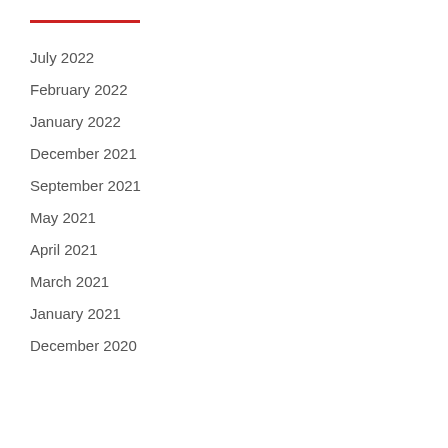July 2022
February 2022
January 2022
December 2021
September 2021
May 2021
April 2021
March 2021
January 2021
December 2020